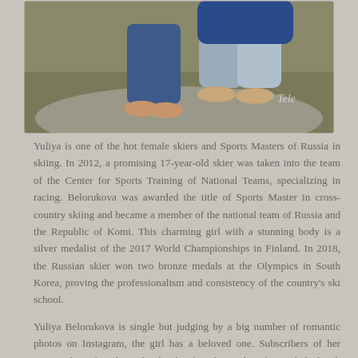[Figure (photo): A photo showing two people outdoors. One person wearing blue jeans and another in grey sweatpants, sitting or crouching on a rock. Feet visible, outdoor setting with ground visible. A 'Tele' watermark appears in the lower right corner of the image.]
Yuliya is one of the hot female skiers and Sports Masters of Russia in skiing. In 2012, a promising 17-year-old skier was taken into the team of the Center for Sports Training of National Teams, specializing in racing. Belorukova was awarded the title of Sports Master in cross-country skiing and became a member of the national team of Russia and the Republic of Komi. This charming girl with a stunning body is a silver medalist of the 2017 World Championships in Finland. In 2018, the Russian skier won two bronze medals at the Olympics in South Korea, proving the professionalism and consistency of the country's ski school.
Yuliya Belorukova is single but judging by a big number of romantic photos on Instagram, the girl has a beloved one. Subscribers of her account have found out that her boyfriend is a skier from Chelyabinsk Nikita Stupaka. Nikita, like Yuliya, is the